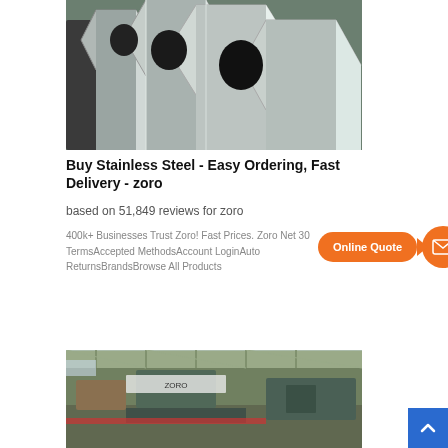[Figure (photo): Photo of stainless steel hexagonal bars/rods stacked together, metallic silver color]
Buy Stainless Steel - Easy Ordering, Fast Delivery - zoro
based on 51,849 reviews for zoro
400k+ Businesses Trust Zoro! Fast Prices. Zoro Net 30 TermsAccepted MethodsAccount LoginAuto ReturnsBrandsBrowse All Products
[Figure (infographic): Online Quote speech bubble callout in orange with a mail envelope circle icon]
[Figure (photo): Industrial factory or manufacturing facility interior with equipment and structures]